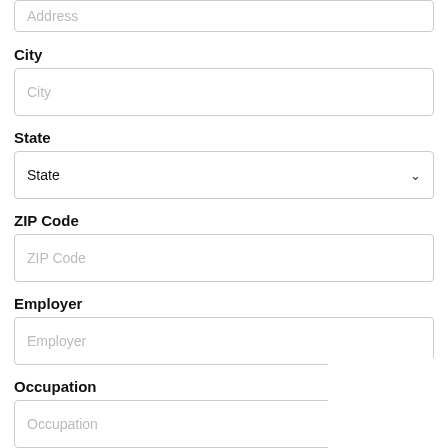Address
City
City
State
State
ZIP Code
ZIP Code
Employer
Employer
Occupation
Occupation
I'm retired
I'm a student